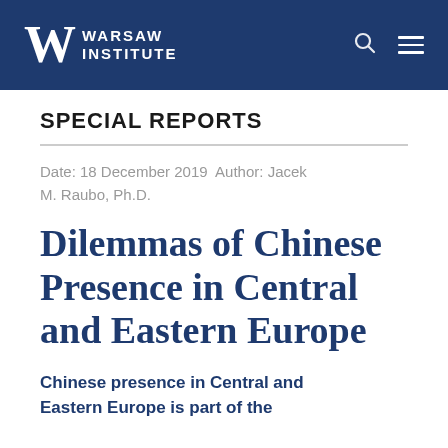WARSAW INSTITUTE
SPECIAL REPORTS
Date: 18 December 2019 Author: Jacek M. Raubo, Ph.D.
Dilemmas of Chinese Presence in Central and Eastern Europe
Chinese presence in Central and Eastern Europe is part of the